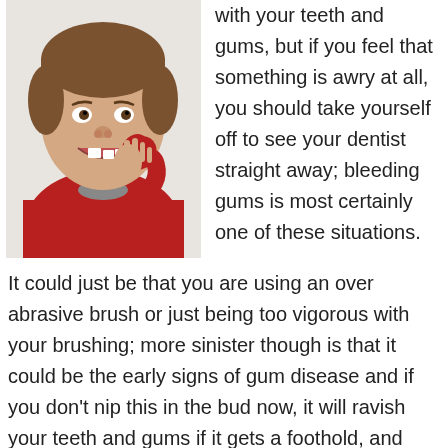[Figure (photo): Young boy in a red sweatshirt smiling and pointing at his teeth, showing missing/crooked teeth, photographed against a white background.]
with your teeth and gums, but if you feel that something is awry at all, you should take yourself off to see your dentist straight away; bleeding gums is most certainly one of these situations.
It could just be that you are using an over abrasive brush or just being too vigorous with your brushing; more sinister though is that it could be the early signs of gum disease and if you don't nip this in the bud now, it will ravish your teeth and gums if it gets a foothold, and affect your heart and other vital organs at a later